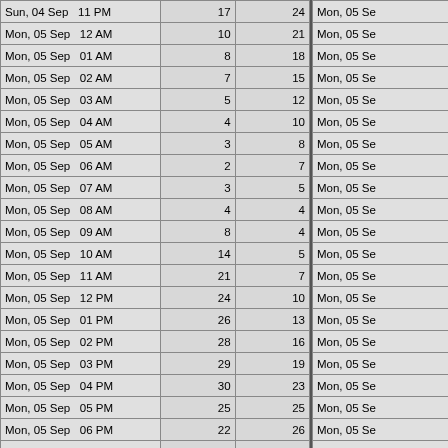| Date/Time | Col1 | Col2 |
| --- | --- | --- |
| Sun, 04 Sep  11 PM | 17 | 24 |
| Mon, 05 Sep  12 AM | 10 | 21 |
| Mon, 05 Sep  01 AM | 8 | 18 |
| Mon, 05 Sep  02 AM | 7 | 15 |
| Mon, 05 Sep  03 AM | 5 | 12 |
| Mon, 05 Sep  04 AM | 4 | 10 |
| Mon, 05 Sep  05 AM | 3 | 8 |
| Mon, 05 Sep  06 AM | 2 | 7 |
| Mon, 05 Sep  07 AM | 3 | 5 |
| Mon, 05 Sep  08 AM | 4 | 4 |
| Mon, 05 Sep  09 AM | 8 | 4 |
| Mon, 05 Sep  10 AM | 14 | 5 |
| Mon, 05 Sep  11 AM | 21 | 7 |
| Mon, 05 Sep  12 PM | 24 | 10 |
| Mon, 05 Sep  01 PM | 26 | 13 |
| Mon, 05 Sep  02 PM | 28 | 16 |
| Mon, 05 Sep  03 PM | 29 | 19 |
| Mon, 05 Sep  04 PM | 30 | 23 |
| Mon, 05 Sep  05 PM | 25 | 25 |
| Mon, 05 Sep  06 PM | 22 | 26 |
| Mon, 05 Sep  07 PM | 23 | 26 |
| Mon, 05 Sep  08 PM | 19 | 25 |
| Mon, 05 Sep  09 PM | 14 | 24 |
| Date/Time (continued) |
| --- |
| Mon, 05 Se |
| Mon, 05 Se |
| Mon, 05 Se |
| Mon, 05 Se |
| Mon, 05 Se |
| Mon, 05 Se |
| Mon, 05 Se |
| Mon, 05 Se |
| Mon, 05 Se |
| Mon, 05 Se |
| Mon, 05 Se |
| Mon, 05 Se |
| Mon, 05 Se |
| Mon, 05 Se |
| Mon, 05 Se |
| Mon, 05 Se |
| Mon, 05 Se |
| Mon, 05 Se |
| Mon, 05 Se |
| Mon, 05 Se |
| Mon, 05 Se |
| Mon, 05 Se |
| Mon, 05 Se |